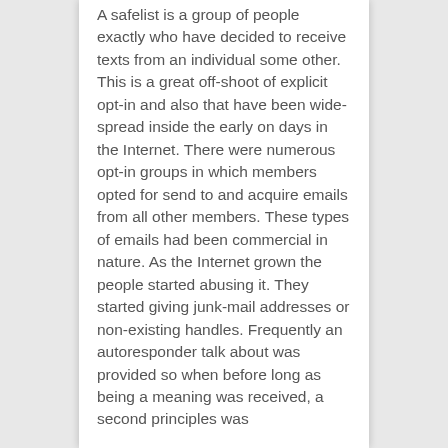A safelist is a group of people exactly who have decided to receive texts from an individual some other. This is a great off-shoot of explicit opt-in and also that have been wide-spread inside the early on days in the Internet. There were numerous opt-in groups in which members opted for send to and acquire emails from all other members. These types of emails had been commercial in nature. As the Internet grown the people started abusing it. They started giving junk-mail addresses or non-existing handles. Frequently an autoresponder talk about was provided so when before long as being a meaning was received, a second principles was